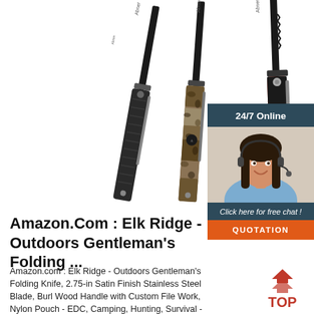[Figure (photo): Three folding pocket knives displayed on white background: black textured handle, camouflage/wood pattern handle, and red/black handle, all with black blades]
[Figure (photo): 24/7 Online chat widget with dark blue header, female customer service agent wearing headset, 'Click here for free chat!' text, and orange QUOTATION button]
Amazon.Com : Elk Ridge - Outdoors Gentleman's Folding ...
Amazon.com : Elk Ridge - Outdoors Gentleman's Folding Knife, 2.75-in Satin Finish Stainless Steel Blade, Burl Wood Handle with Custom File Work, Nylon Pouch - EDC, Camping, Hunting, Survival - ER-138, Multicolor, One Size : Hunting Folding Knives : Sports & Outdoors
[Figure (logo): TOP badge with red upward-pointing arrows/chevrons above bold red TOP text]